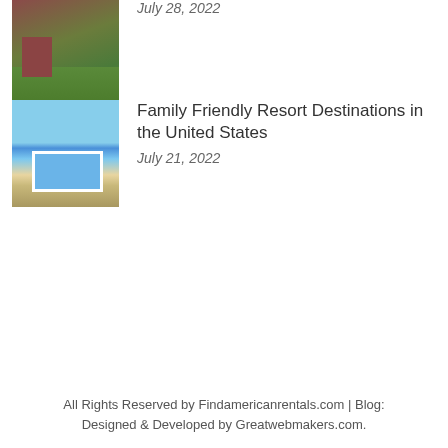[Figure (photo): Hotel or resort exterior with red/brown building and green lawn area]
July 28, 2022
[Figure (photo): Aerial view of a resort with swimming pool, lounge chairs, and waterfront]
Family Friendly Resort Destinations in the United States
July 21, 2022
All Rights Reserved by Findamericanrentals.com | Blog: Designed & Developed by Greatwebmakers.com.